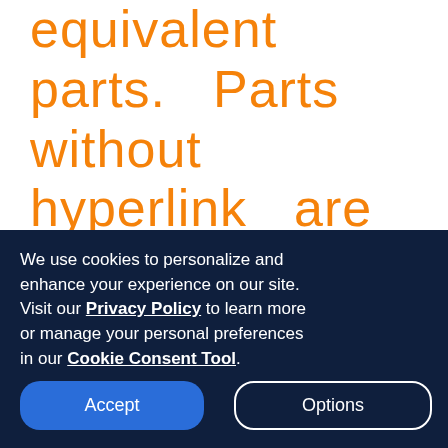equivalent parts. Parts without hyperlink are listed for reference only and are not available for purchase.
We use cookies to personalize and enhance your experience on our site. Visit our Privacy Policy to learn more or manage your personal preferences in our Cookie Consent Tool.
Accept
Options